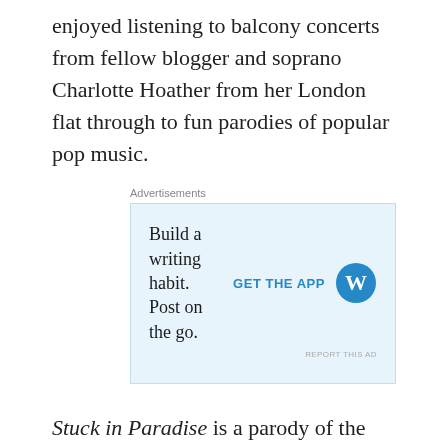enjoyed listening to balcony concerts from fellow blogger and soprano Charlotte Hoather from her London flat through to fun parodies of popular pop music.
[Figure (other): Advertisement banner: 'Build a writing habit. Post on the go.' with GET THE APP call to action and WordPress logo.]
Stuck in Paradise is a parody of the 1980s hit Run to Paradise by Australian band The Choirboys. The video is typical of Aussies poking fun at themselves even when the going gets tough. The original song brings back special memories of being stuck on a Contiki bus tour in 1989 and travelling through the former Soviet Union and East Germany. For three weeks every morning when we boarded the bus that was the theme song for our trip